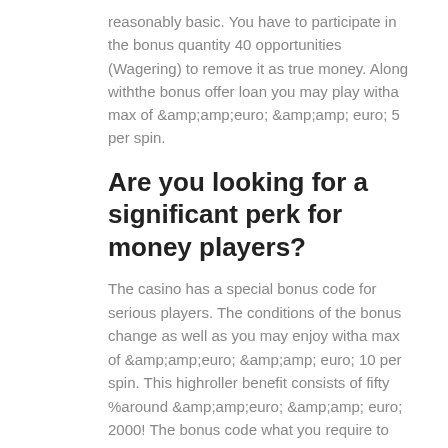reasonably basic. You have to participate in the bonus quantity 40 opportunities (Wagering) to remove it as true money. Along withthe bonus offer loan you may play witha max of &amp;amp;amp;euro; &amp;amp;amp; euro; 5 per spin.
Are you looking for a significant perk for money players?
The casino has a special bonus code for serious players. The conditions of the bonus change as well as you may enjoy witha max of &amp;amp;amp;euro; &amp;amp;amp; euro; 10 per spin. This highroller benefit consists of fifty %around &amp;amp;amp;euro; &amp;amp;amp; euro; 2000! The bonus code what you require to assert this bonus offer is actually: LARGE. Pointer: the minimal deposit to assert the highroller invited promotion is actually &amp;amp;amp;euro; &amp;amp;amp; european; 1000, so focus on whichbonus code you use!